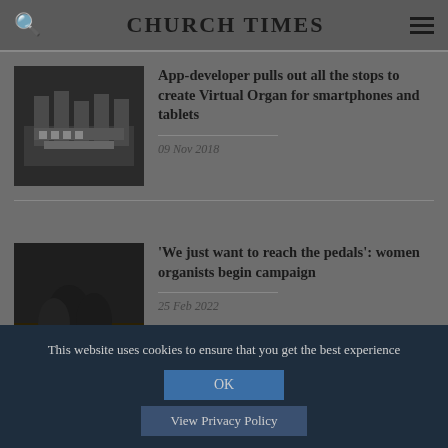CHURCH TIMES
App-developer pulls out all the stops to create Virtual Organ for smartphones and tablets
09 Nov 2018
'We just want to reach the pedals': women organists begin campaign
25 Feb 2022
This website uses cookies to ensure that you get the best experience
OK
View Privacy Policy